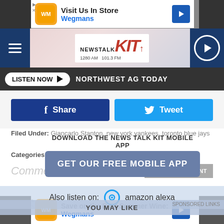[Figure (screenshot): Wegmans advertisement banner at top with logo, 'Visit Us In Store' text and blue arrow icon]
[Figure (logo): NewsTalk KIT 1280 AM 101.3 FM radio station header logo]
LISTEN NOW ▶  NORTHWEST AG TODAY
Share  Tweet
Filed Under: Giancarlo Stanton, new york yankees, toronto blue jays
DOWNLOAD THE NEWS TALK KIT MOBILE APP
Categories: Featured, Sports
GET OUR FREE MOBILE APP
Comments
LEAVE A COMMENT
Also listen on:  amazon alexa
YOU MAY LIKE
SPONSORED LINKS
[Figure (screenshot): Wegmans advertisement banner at bottom with logo, 'Save on the Best Summer Wine:' text and blue arrow icon]